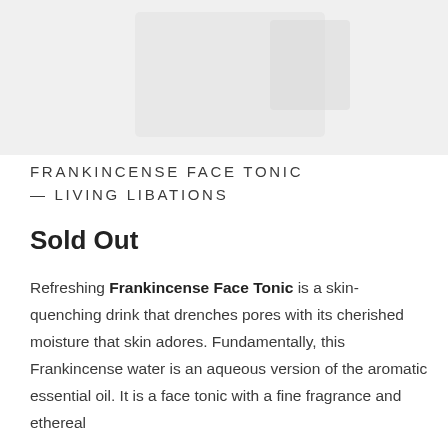[Figure (photo): Product image area showing a faint/light photograph of the Frankincense Face Tonic product bottle against a light grey background]
FRANKINCENSE FACE TONIC — LIVING LIBATIONS
Sold Out
Refreshing Frankincense Face Tonic is a skin-quenching drink that drenches pores with its cherished moisture that skin adores. Fundamentally, this Frankincense water is an aqueous version of the aromatic essential oil. It is a face tonic with a fine fragrance and ethereal